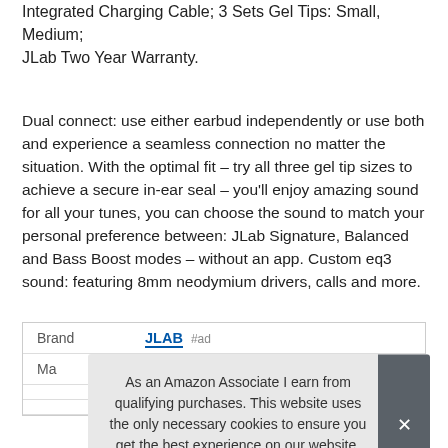Integrated Charging Cable; 3 Sets Gel Tips: Small, Medium; JLab Two Year Warranty.
Dual connect: use either earbud independently or use both and experience a seamless connection no matter the situation. With the optimal fit – try all three gel tip sizes to achieve a secure in-ear seal – you'll enjoy amazing sound for all your tunes, you can choose the sound to match your personal preference between: JLab Signature, Balanced and Bass Boost modes – without an app. Custom eq3 sound: featuring 8mm neodymium drivers, calls and more.
|  |  |
| --- | --- |
| Brand | JLAB #ad |
| Ma |  |
|  |  |
|  |  |
As an Amazon Associate I earn from qualifying purchases. This website uses the only necessary cookies to ensure you get the best experience on our website. More information